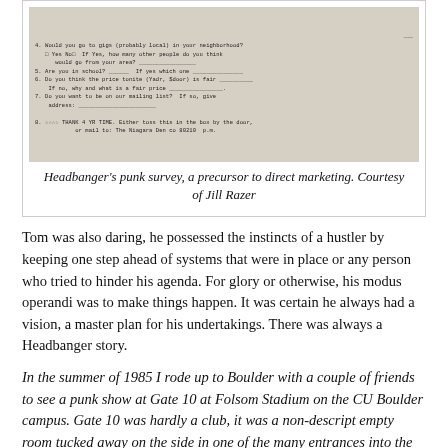[Figure (photo): Handwritten punk survey form with questions about attending gigs, school attendance, ticket price fairness, mailing list, and a thank-you note at the bottom.]
Headbanger's punk survey, a precursor to direct marketing. Courtesy of Jill Razer
Tom was also daring, he possessed the instincts of a hustler by keeping one step ahead of systems that were in place or any person who tried to hinder his agenda. For glory or otherwise, his modus operandi was to make things happen. It was certain he always had a vision, a master plan for his undertakings. There was always a Headbanger story.
In the summer of 1985 I rode up to Boulder with a couple of friends to see a punk show at Gate 10 at Folsom Stadium on the CU Boulder campus. Gate 10 was hardly a club, it was a non-descript empty room tucked away on the side in one of the many entrances into the stadium. Someone had the foresight that it would be an ideal venue for live punk and hardcore music. Headbanger was running the show that